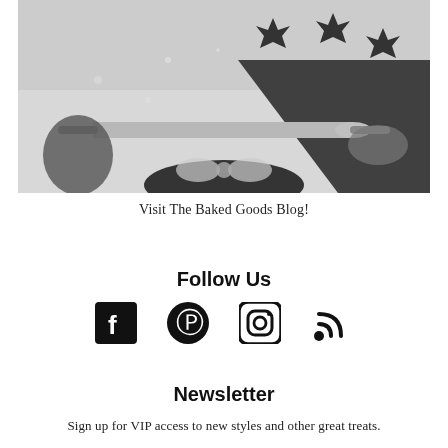[Figure (photo): Black and white overhead photo of a child rolling out dough with cookie cutters on a floured surface]
Visit The Baked Goods Blog!
Follow Us
[Figure (infographic): Social media icons: Facebook, Pinterest, Instagram, RSS feed]
Newsletter
Sign up for VIP access to new styles and other great treats.